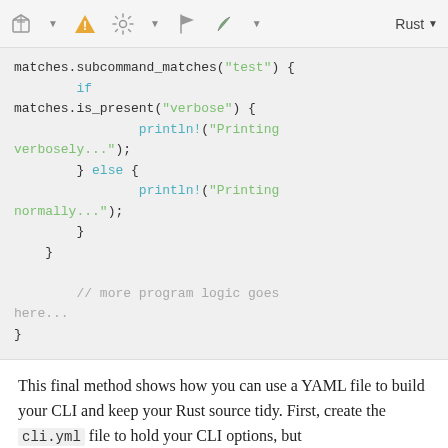[Figure (screenshot): Toolbar with icons: package cube, warning triangle, settings, flag, leaf/Rust icon, and language selector showing 'Rust']
matches.subcommand_matches("test") {
        if
matches.is_present("verbose") {
                println!("Printing
verbosely...");
        } else {
                println!("Printing
normally...");
        }
    }

        // more program logic goes
here...
}
This final method shows how you can use a YAML file to build your CLI and keep your Rust source tidy. First, create the cli.yml file to hold your CLI options, but